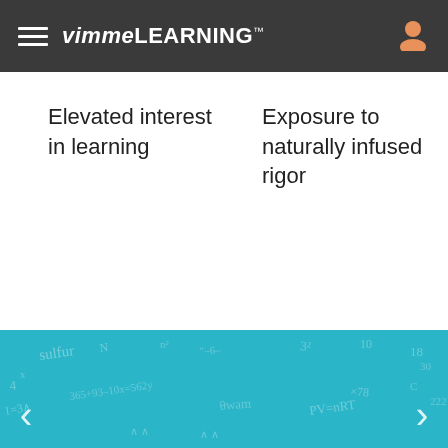vimmeLEARNING™
Elevated interest in learning
Exposure to naturally infused rigor
[Figure (illustration): Teal background with handwritten-style mathematical equations and formulas, including algebra and chemistry terms like 'sulfur', '365+93-10x=562y', 'PV=nRT', navigation arrows on left and right sides.]